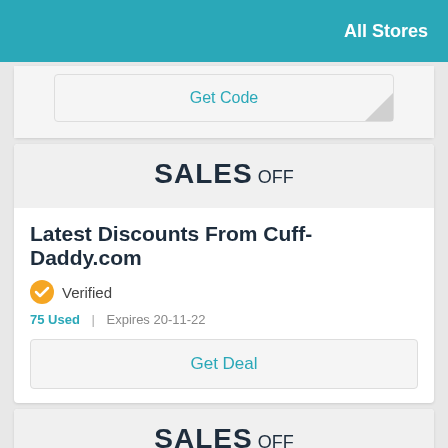All Stores
Get Code
SALES OFF
Latest Discounts From Cuff-Daddy.com
Verified
75 Used | Expires 20-11-22
Get Deal
SALES OFF
Exclusive Savings